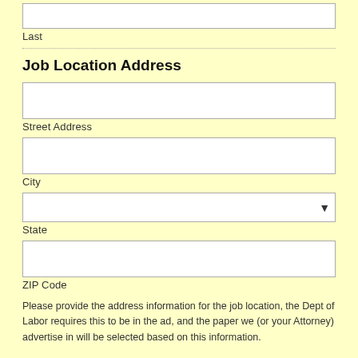Last
Job Location Address
Street Address
City
State
ZIP Code
Please provide the address information for the job location, the Dept of Labor requires this to be in the ad, and the paper we (or your Attorney) advertise in will be selected based on this information.